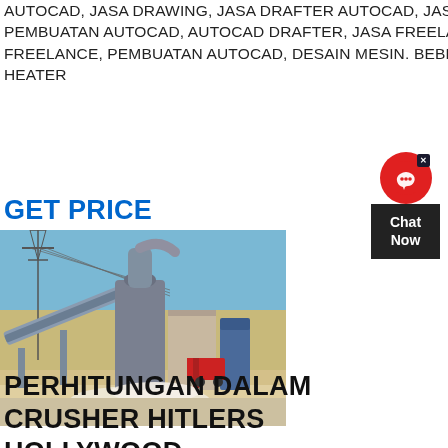AUTOCAD, JASA DRAWING, JASA DRAFTER AUTOCAD, JASA DRAFTER, JASA DRAFTER SURABAYA, JASA DESAIN MESIN, PEMBUATAN AUTOCAD, AUTOCAD DRAFTER, JASA FREELANCE DRAFTER, JASA AUTOCAD ATAU DRAFTER AUTOCAD FREELANCE, PEMBUATAN AUTOCAD, DESAIN MESIN. BEBERAPA MESIN INDUSTRI SEPERTI BELT CONVEYOR, CRUSHER, AIR HEATER
GET PRICE
[Figure (photo): Industrial machinery setup outdoors showing a large vertical mill/crusher with belt conveyor, pipes, and a red forklift, under a blue sky with power line tower in background.]
[Figure (illustration): Chat Now widget with red circular icon showing a headset/support symbol, close button (x), and dark Chat Now label below.]
PERHITUNGAN DALAM CRUSHER HITLERS HOLLYWOOD